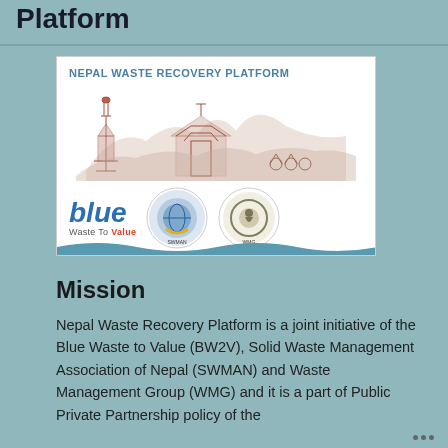Platform
[Figure (logo): Nepal Waste Recovery Platform logo featuring text 'NEPAL WASTE RECOVERY PLATFORM', a sketch of Nepali architecture/temples, the Blue Waste to Value logo, and two circular organization logos (SWMAN and WMG)]
Mission
Nepal Waste Recovery Platform is a joint initiative of the Blue Waste to Value (BW2V), Solid Waste Management Association of Nepal (SWMAN) and Waste Management Group (WMG) and it is a part of Public Private Partnership policy of the